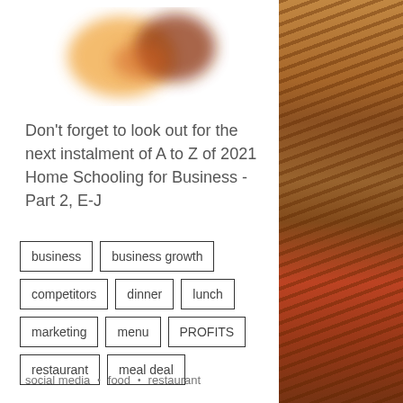[Figure (logo): Blurred colorful logo at top of left column, showing orange and red/brown shapes]
Don't forget to look out for the next instalment of A to Z of 2021 Home Schooling for Business - Part 2, E-J
business
business growth
competitors
dinner
lunch
marketing
menu
PROFITS
restaurant
meal deal
social media • food • restaurant
[Figure (photo): Photo of food items including bread/flatbread rolls and red vegetables on the right column]